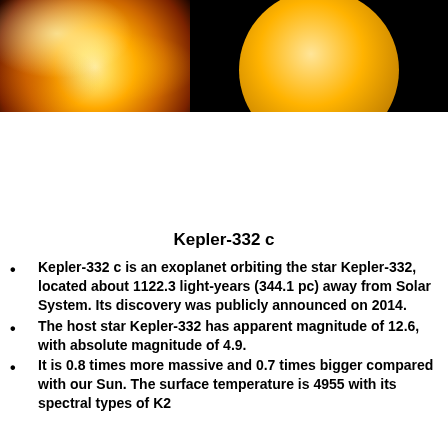[Figure (photo): Two-panel image strip at the top: left panel shows a close-up photo of the Sun with bright orange and white flaring surface; right panel shows a large orange circular planet or star against a black background, partially cropped at the top.]
Kepler-332 c
Kepler-332 c is an exoplanet orbiting the star Kepler-332, located about 1122.3 light-years (344.1 pc) away from Solar System. Its discovery was publicly announced on 2014.
The host star Kepler-332 has apparent magnitude of 12.6, with absolute magnitude of 4.9.
It is 0.8 times more massive and 0.7 times bigger compared with our Sun. The surface temperature is 4955 with its spectral types of K2